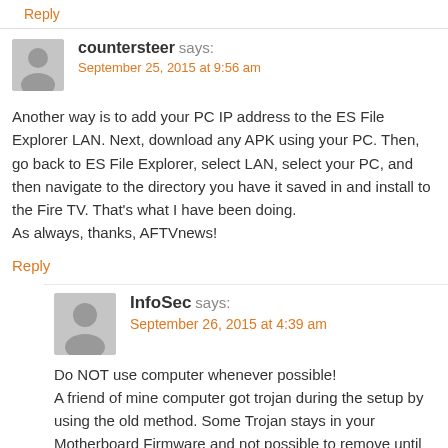Reply
countersteer says:
September 25, 2015 at 9:56 am
Another way is to add your PC IP address to the ES File Explorer LAN. Next, download any APK using your PC. Then, go back to ES File Explorer, select LAN, select your PC, and then navigate to the directory you have it saved in and install to the Fire TV. That's what I have been doing.
As always, thanks, AFTVnews!
Reply
InfoSec says:
September 26, 2015 at 4:39 am
Do NOT use computer whenever possible!
A friend of mine computer got trojan during the setup by using the old method. Some Trojan stays in your Motherboard Firmware and not possible to remove until the motherboard replaced.